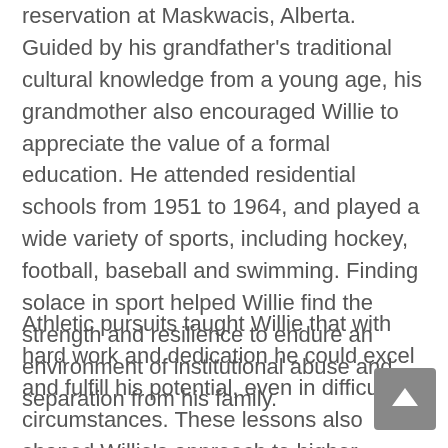reservation at Maskwacis, Alberta. Guided by his grandfather's traditional cultural knowledge from a young age, his grandmother also encouraged Willie to appreciate the value of a formal education. He attended residential schools from 1951 to 1964, and played a wide variety of sports, including hockey, football, baseball and swimming. Finding solace in sport helped Willie find the strength and resilience to endure an environment of institutional abuse and separation from his family.
Athletic pursuits taught Willie that with hard work and dedication he could excel and fulfill his potential, even in difficult circumstances. These lessons also shaped Willie's approach to higher education. A diligent student, he attended the University of Alberta and earned a bachelor's degree in physical education in 1967, followed by